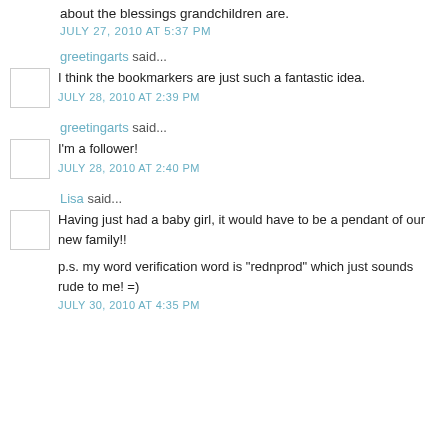about the blessings grandchildren are.
JULY 27, 2010 AT 5:37 PM
greetingarts said...
I think the bookmarkers are just such a fantastic idea.
JULY 28, 2010 AT 2:39 PM
greetingarts said...
I'm a follower!
JULY 28, 2010 AT 2:40 PM
Lisa said...
Having just had a baby girl, it would have to be a pendant of our new family!!
p.s. my word verification word is "rednprod" which just sounds rude to me! =)
JULY 30, 2010 AT 4:35 PM